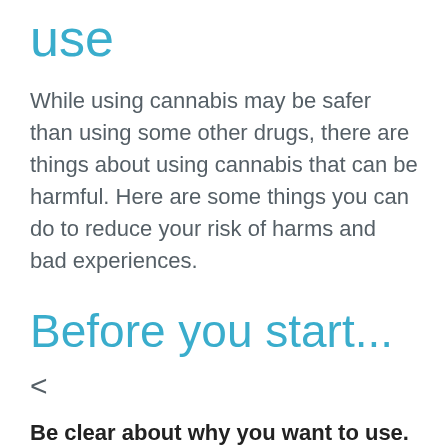use
While using cannabis may be safer than using some other drugs, there are things about using cannabis that can be harmful. Here are some things you can do to reduce your risk of harms and bad experiences.
Before you start...
<
Be clear about why you want to use. Is it going to help you in some way or make things worse?